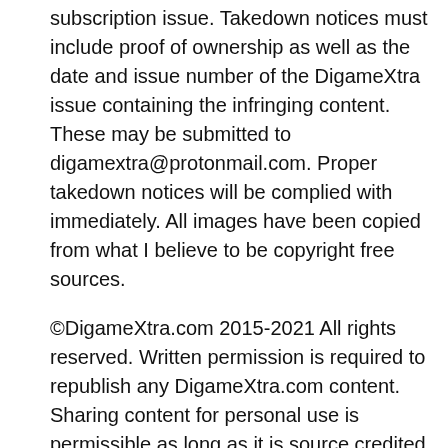subscription issue. Takedown notices must include proof of ownership as well as the date and issue number of the DigameXtra issue containing the infringing content.  These may be submitted to digamextra@protonmail.com. Proper takedown notices will be complied with immediately. All images have been copied from what I believe to be copyright free sources.
©DigameXtra.com 2015-2021 All rights reserved. Written permission is required to republish any DigameXtra.com content. Sharing content for personal use is permissible as long as it is source credited to http://www.digamextra.com.